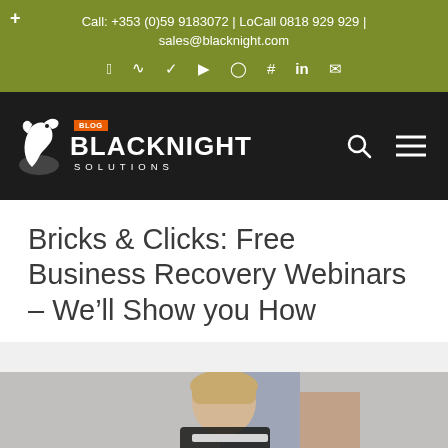Call: +353 (0)59 9183072 | LoCall 0818 929 929 | sales@blacknight.com
[Figure (logo): Blacknight Solutions Blog logo with horse chess piece icon on dark background, with search and menu icons]
Bricks & Clicks: Free Business Recovery Webinars – We'll Show you How
[Figure (photo): Woman wearing a face shield mask, blurred background with colorful elements]